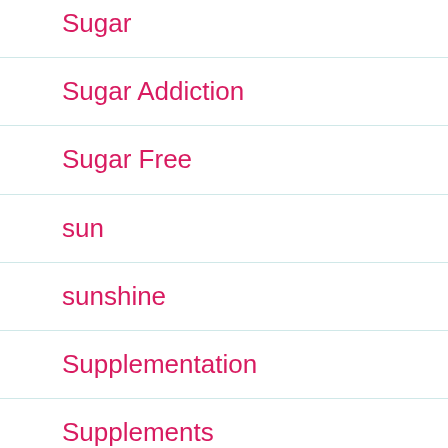Sugar
Sugar Addiction
Sugar Free
sun
sunshine
Supplementation
Supplements
Tea
Technology